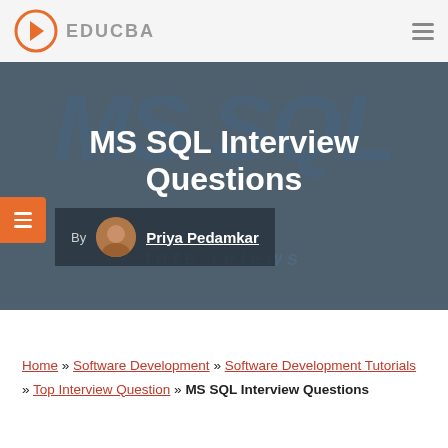EDUCBA
[Figure (screenshot): EDUCBA website hero banner with MS SQL logo background, showing 'MS SQL Interview Questions' title and author Priya Pedamkar]
MS SQL Interview Questions
By Priya Pedamkar
Home » Software Development » Software Development Tutorials » Top Interview Question » MS SQL Interview Questions